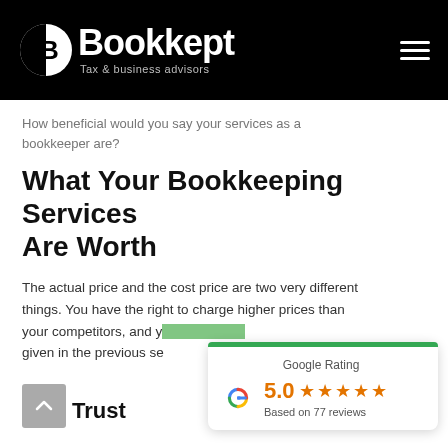Bookkept — Tax & business advisors
How beneficial would you say your services as a bookkeeper are?
What Your Bookkeeping Services Are Worth
The actual price and the cost price are two very different things. You have the right to charge higher prices than your competitors, and y... given in the previous se...
[Figure (infographic): Google Rating widget showing 5.0 stars based on 77 reviews with a green top bar and Google G logo]
Trust